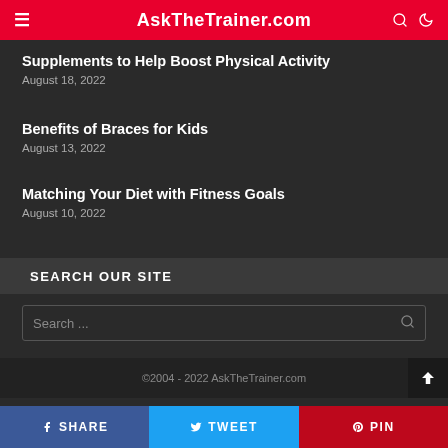AskTheTrainer.com
Supplements to Help Boost Physical Activity
August 18, 2022
Benefits of Braces for Kids
August 13, 2022
Matching Your Diet with Fitness Goals
August 10, 2022
SEARCH OUR SITE
Search ...
©2004 - 2022 AskTheTrainer.com
SHARE
TWEET
PIN